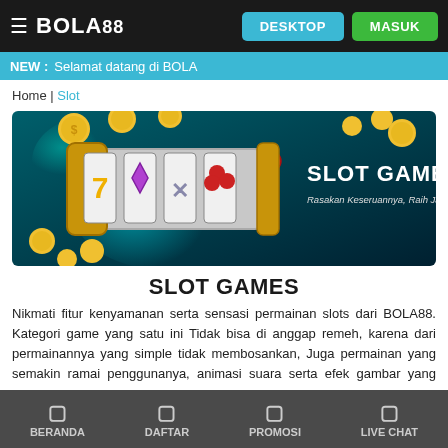BOLA88 | DESKTOP | MASUK
NEW : Selamat datang di BOLA
Home | Slot
[Figure (illustration): Slot Games banner with a slot machine showing lucky 7, diamonds and cherries, gold coins, teal/dark background. Text: SLOT GAMES, Rasakan Keseruannya, Raih Jackpotnya!]
SLOT GAMES
Nikmati fitur kenyamanan serta sensasi permainan slots dari BOLA88. Kategori game yang satu ini Tidak bisa di anggap remeh, karena dari permainannya yang simple tidak membosankan, Juga permainan yang semakin ramai penggunanya, animasi suara serta efek gambar yang tersaji akan membuat anda betah nyaman
BERANDA | DAFTAR | PROMOSI | LIVE CHAT